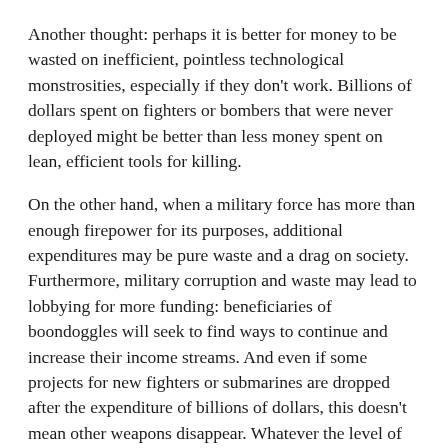Another thought: perhaps it is better for money to be wasted on inefficient, pointless technological monstrosities, especially if they don't work. Billions of dollars spent on fighters or bombers that were never deployed might be better than less money spent on lean, efficient tools for killing.
On the other hand, when a military force has more than enough firepower for its purposes, additional expenditures may be pure waste and a drag on society. Furthermore, military corruption and waste may lead to lobbying for more funding: beneficiaries of boondoggles will seek to find ways to continue and increase their income streams. And even if some projects for new fighters or submarines are dropped after the expenditure of billions of dollars, this doesn't mean other weapons disappear. Whatever the level of waste, rifles keep being produced.
Recently I read Paul Koistinen's book State of War. His analysis